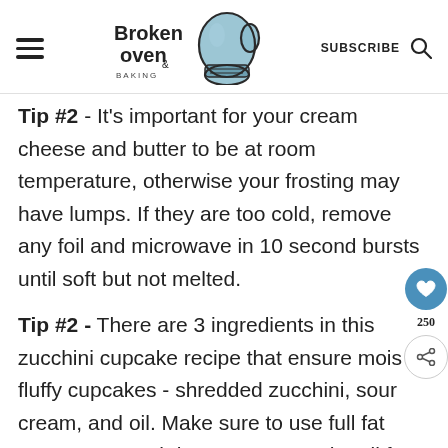Broken Oven Baking — SUBSCRIBE
Tip #2 - It's important for your cream cheese and butter to be at room temperature, otherwise your frosting may have lumps. If they are too cold, remove any foil and microwave in 10 second bursts until soft but not melted.
Tip #2 - There are 3 ingredients in this zucchini cupcake recipe that ensure moist fluffy cupcakes - shredded zucchini, sour cream, and oil. Make sure to use full fat sour cream and do not swap out the oil for